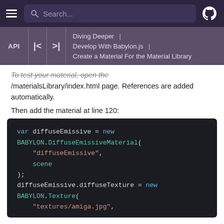Search...
Diving Deeper | Develop With Babylon.js | Create a Material For the Material Library
To test your material, open the /materialsLibrary/index.html page. References are added automatically.
Then add the material at line 120:
[Figure (screenshot): Code block showing JavaScript code: var diffuseEmissive = new BABYLON.DiffuseEmissiveMaterial( "diffuseEmissive", scene ); diffuseEmissive.diffuseTexture = new BABYLON.Texture( "textures/amiga.jpg",]